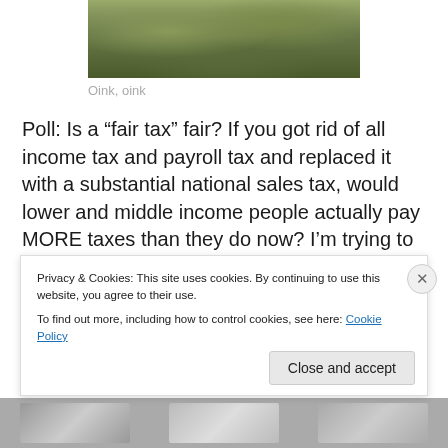[Figure (photo): Partial photo of an outdoor scene with grass and leaves on the ground, appearing to show a pig or animal in grass]
Oink, oink
Poll: Is a “fair tax” fair? If you got rid of all income tax and payroll tax and replaced it with a substantial national sales tax, would lower and middle income people actually pay MORE taxes than they do now? I’m trying to learn more about this 9-9-9 idea. Sounds good at first . . . but now the analysis comes in. Is 9-9-9 just 6-6-6 turned upside down? Or is it the number that will save us? Send me your
Privacy & Cookies: This site uses cookies. By continuing to use this website, you agree to their use.
To find out more, including how to control cookies, see here: Cookie Policy